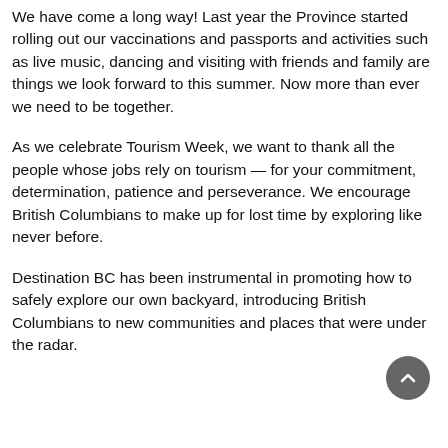We have come a long way! Last year the Province started rolling out our vaccinations and passports and activities such as live music, dancing and visiting with friends and family are things we look forward to this summer. Now more than ever we need to be together.
As we celebrate Tourism Week, we want to thank all the people whose jobs rely on tourism — for your commitment, determination, patience and perseverance. We encourage British Columbians to make up for lost time by exploring like never before.
Destination BC has been instrumental in promoting how to safely explore our own backyard, introducing British Columbians to new communities and places that were under the radar.